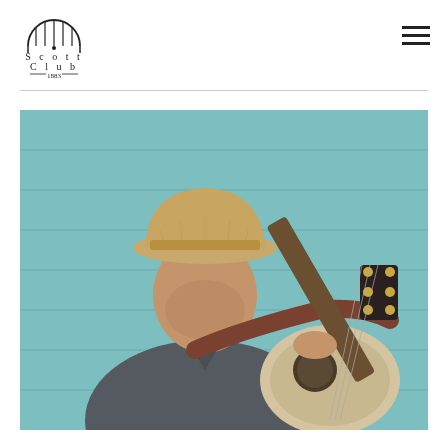Scott Club 1883 — navigation header with logo and hamburger menu
[Figure (photo): A middle-aged man with a straw fedora hat, wearing a dark grey v-neck t-shirt, playing an acoustic guitar with a brown leather strap, photographed against a light teal/turquoise painted wood siding wall background, looking down at the guitar neck.]